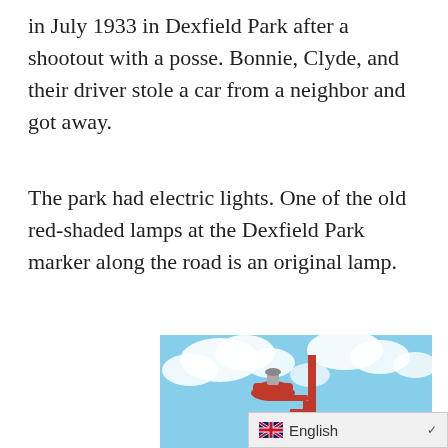in July 1933 in Dexfield Park after a shootout with a posse. Bonnie, Clyde, and their driver stole a car from a neighbor and got away.
The park had electric lights. One of the old red-shaded lamps at the Dexfield Park marker along the road is an original lamp.
[Figure (photo): A red vintage street lamp on a red pole against a blue sky with white clouds. The lamp has a red dome shade with a metal fixture on top. Green trees are visible at the bottom right.]
English